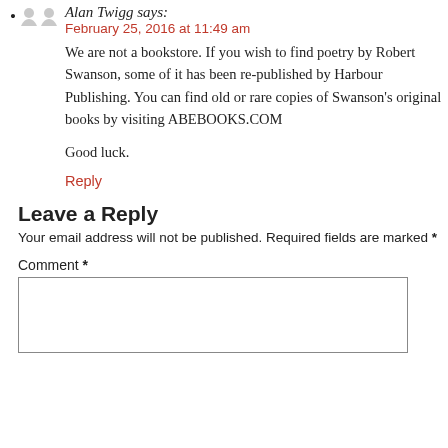Alan Twigg says:
February 25, 2016 at 11:49 am
We are not a bookstore. If you wish to find poetry by Robert Swanson, some of it has been re-published by Harbour Publishing. You can find old or rare copies of Swanson's original books by visiting ABEBOOKS.COM

Good luck.

Reply
Leave a Reply
Your email address will not be published. Required fields are marked *
Comment *
[Comment text box]